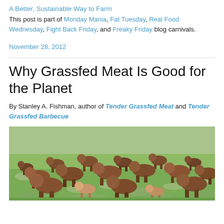A Better, Sustainable Way to Farm
This post is part of Monday Mania, Fat Tuesday, Real Food Wednesday, Fight Back Friday, and Freaky Friday blog carnivals.
November 28, 2012
Why Grassfed Meat Is Good for the Planet
By Stanley A. Fishman, author of Tender Grassfed Meat and Tender Grassfed Barbecue
[Figure (photo): A herd of bison grazing on a green grassy plain, with many animals of varying sizes visible across a wide meadow landscape.]